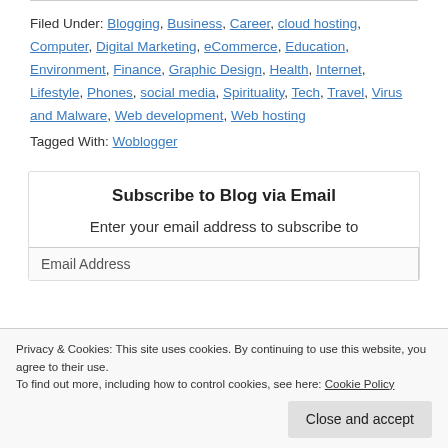Filed Under: Blogging, Business, Career, cloud hosting, Computer, Digital Marketing, eCommerce, Education, Environment, Finance, Graphic Design, Health, Internet, Lifestyle, Phones, social media, Spirituality, Tech, Travel, Virus and Malware, Web development, Web hosting
Tagged With: Woblogger
Subscribe to Blog via Email
Enter your email address to subscribe to
Email Address
Privacy & Cookies: This site uses cookies. By continuing to use this website, you agree to their use. To find out more, including how to control cookies, see here: Cookie Policy
Close and accept